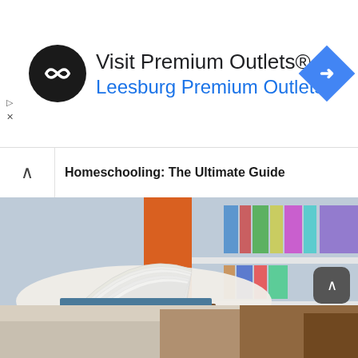[Figure (screenshot): Advertisement banner for Visit Premium Outlets® showing a black circular logo with infinity symbol, text 'Visit Premium Outlets®' and 'Leesburg Premium Outlets' in blue, and a blue diamond navigation arrow icon on the right]
Homeschooling: The Ultimate Guide
[Figure (photo): Photo of an open book with pages fanned out on top of a stack of books, with blurred library bookshelves in the background showing orange and colorful spines]
Finals Week: Five Strategies to Thrive and Survive
[Figure (photo): Partial bottom image showing books or educational materials, partially cropped]